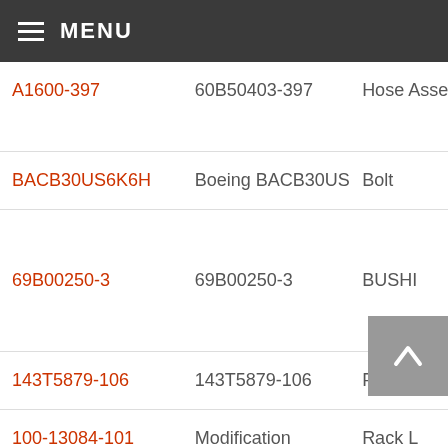MENU
| Part Number | Manufacturer Part | Description |
| --- | --- | --- |
| A1600-397 | 60B50403-397 | Hose Assem |
| BACB30US6K6H | Boeing BACB30US6K6H | Bolt |
| 69B00250-3 | 69B00250-3 | BUSHI |
| 143T5879-106 | 143T5879-106 | Floor P |
| 100-13084-101 | Modification | Rack L |